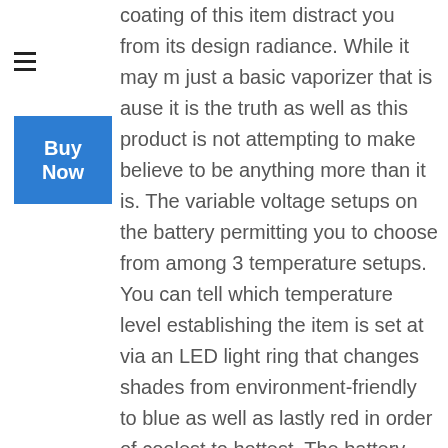[Figure (other): Hamburger menu icon (three horizontal lines)]
[Figure (other): Blue 'Buy Now' button]
coating of this item distract you from its design radiance. While it may m just a basic vaporizer that is ause it is the truth as well as this product is not attempting to make believe to be anything more than it is. The variable voltage setups on the battery permitting you to choose from among 3 temperature setups. You can tell which temperature level establishing the item is set at via an LED light ring that changes shades from environment-friendly to blue as well as lastly red in order of coolest to hottest. The battery itself might only